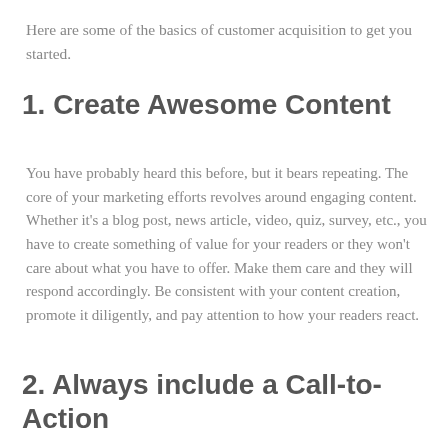Here are some of the basics of customer acquisition to get you started.
1. Create Awesome Content
You have probably heard this before, but it bears repeating. The core of your marketing efforts revolves around engaging content. Whether it’s a blog post, news article, video, quiz, survey, etc., you have to create something of value for your readers or they won’t care about what you have to offer. Make them care and they will respond accordingly. Be consistent with your content creation, promote it diligently, and pay attention to how your readers react.
2. Always include a Call-to-Action